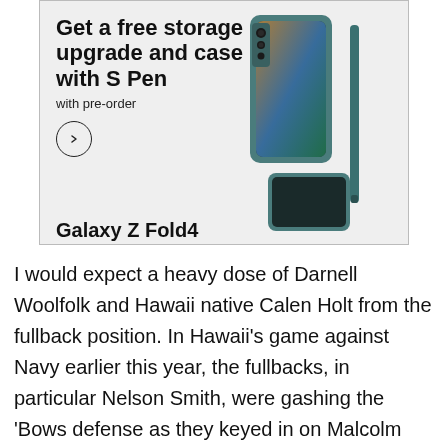[Figure (infographic): Samsung Galaxy Z Fold4 advertisement. Headline: 'Get a free storage upgrade and case with S Pen'. Subheadline: 'with pre-order'. Circle arrow button. Bold text 'Galaxy Z Fold4'. Disclaimer: 'See terms and conditions. S Pen compatible only with Galaxy Z Fold4 main display.' Image of the phone with S Pen on the right side.]
I would expect a heavy dose of Darnell Woolfolk and Hawaii native Calen Holt from the fullback position. In Hawaii's game against Navy earlier this year, the fullbacks, in particular Nelson Smith, were gashing the 'Bows defense as they keyed in on Malcolm Perry. Holt is 9th in the country so far this season in yards/attempt with nearly 10 yards a carry. If Army can establish the fullback dive like they did successfully against Liberty, that might be the biggest factor in their ability to control